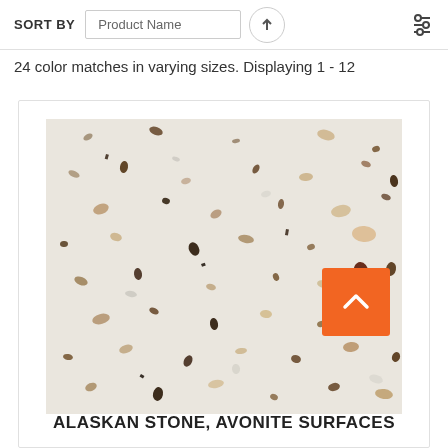SORT BY  Product Name  ↑
24 color matches in varying sizes. Displaying 1 - 12
[Figure (photo): Close-up photo of Alaskan Stone surface by Avonite Surfaces — a light off-white/cream terrazzo-style material with scattered brown, black, and tan mineral flecks and aggregates of varying sizes.]
ALASKAN STONE, AVONITE SURFACES